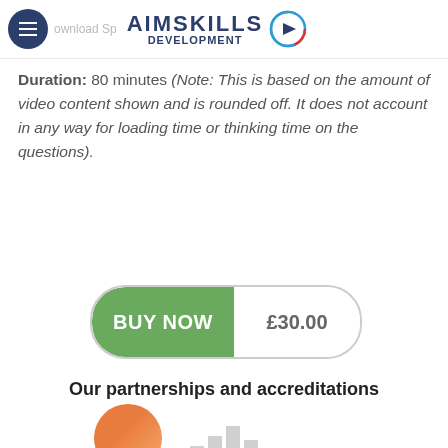AIM SKILLS DEVELOPMENT
Duration: 80 minutes (Note: This is based on the amount of video content shown and is rounded off. It does not account in any way for loading time or thinking time on the questions).
[Figure (other): Buy Now button with price £30.00]
Our partnerships and accreditations
[Figure (other): Partial logos of partnership/accreditation organizations at bottom]